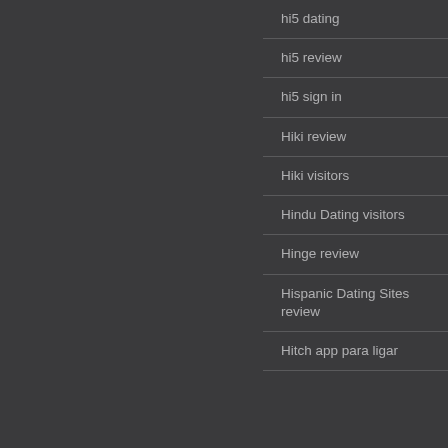hi5 dating
hi5 review
hi5 sign in
Hiki review
Hiki visitors
Hindu Dating visitors
Hinge review
Hispanic Dating Sites review
Hitch app para ligar